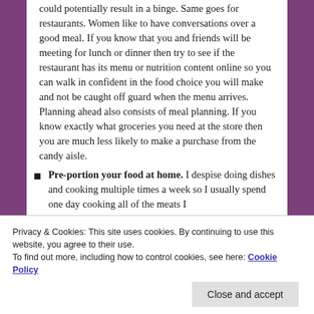could potentially result in a binge. Same goes for restaurants. Women like to have conversations over a good meal. If you know that you and friends will be meeting for lunch or dinner then try to see if the restaurant has its menu or nutrition content online so you can walk in confident in the food choice you will make and not be caught off guard when the menu arrives. Planning ahead also consists of meal planning. If you know exactly what groceries you need at the store then you are much less likely to make a purchase from the candy aisle.
Pre-portion your food at home. I despise doing dishes and cooking multiple times a week so I usually spend one day cooking all of the meats I
Privacy & Cookies: This site uses cookies. By continuing to use this website, you agree to their use. To find out more, including how to control cookies, see here: Cookie Policy
because once you portion it out you know